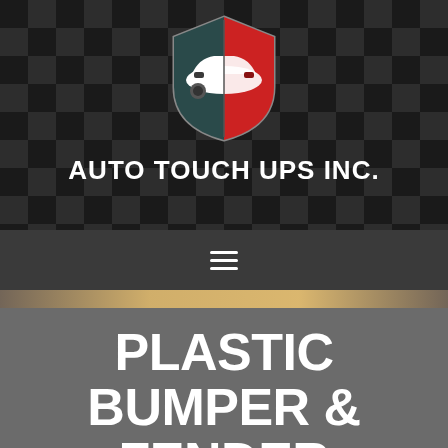[Figure (logo): Auto Touch Ups Inc. shield logo with white and red car silhouette on dark teal/grey shield background, set against a checkered dark pattern]
AUTO TOUCH UPS INC.
[Figure (other): Hamburger menu icon (three horizontal white lines) on dark grey navigation bar]
PLASTIC BUMPER & FENDER REPAIR